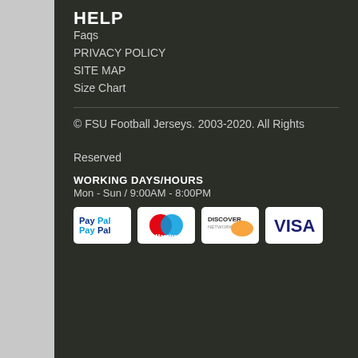HELP
Faqs
PRIVACY POLICY
SITE MAP
Size Chart
© FSU Football Jerseys. 2003-2020. All Rights Reserved
WORKING DAYS/HOURS
Mon - Sun / 9:00AM - 8:00PM
[Figure (infographic): Payment method logos: PayPal, Maestro, Discover Network, Visa]